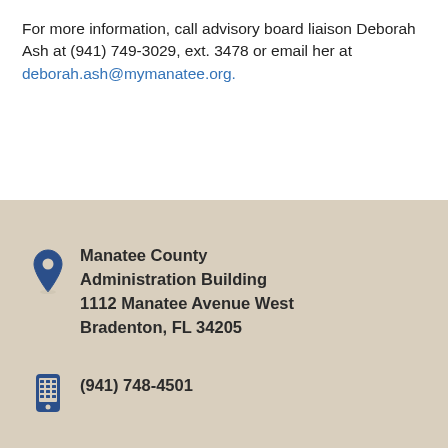For more information, call advisory board liaison Deborah Ash at (941) 749-3029, ext. 3478 or email her at deborah.ash@mymanatee.org.
Manatee County Administration Building
1112 Manatee Avenue West
Bradenton, FL 34205
(941) 748-4501